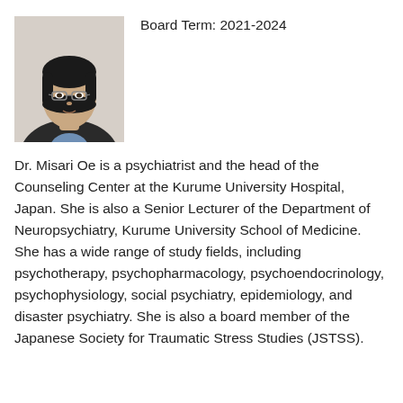[Figure (photo): Headshot photo of Dr. Misari Oe, a woman with short dark hair wearing glasses and a dark jacket over a blue shirt.]
Board Term: 2021-2024
Dr. Misari Oe is a psychiatrist and the head of the Counseling Center at the Kurume University Hospital, Japan. She is also a Senior Lecturer of the Department of Neuropsychiatry, Kurume University School of Medicine. She has a wide range of study fields, including psychotherapy, psychopharmacology, psychoendocrinology, psychophysiology, social psychiatry, epidemiology, and disaster psychiatry. She is also a board member of the Japanese Society for Traumatic Stress Studies (JSTSS).